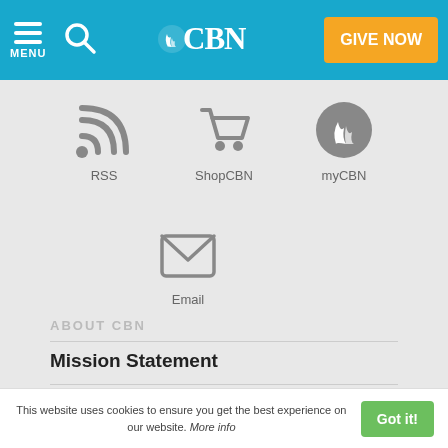[Figure (screenshot): CBN website navigation header with menu icon, search icon, CBN logo, and orange GIVE NOW button on a teal/blue background]
[Figure (infographic): Three icons in a row: RSS (wifi/signal icon), ShopCBN (shopping cart icon), myCBN (circular CBN logo icon), each with label below]
[Figure (infographic): Email icon (envelope) with label 'Email' below]
ABOUT CBN
Mission Statement
Our Ministries
Superbook/Kids
This website uses cookies to ensure you get the best experience on our website. More info